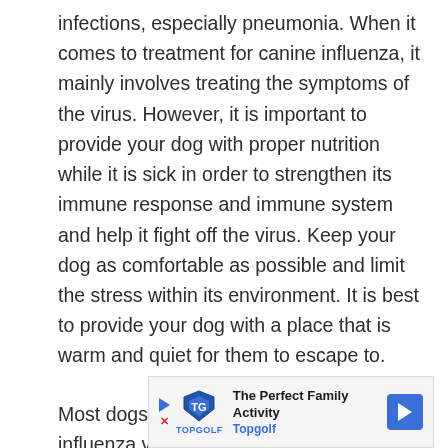infections, especially pneumonia. When it comes to treatment for canine influenza, it mainly involves treating the symptoms of the virus. However, it is important to provide your dog with proper nutrition while it is sick in order to strengthen its immune response and immune system and help it fight off the virus. Keep your dog as comfortable as possible and limit the stress within its environment. It is best to provide your dog with a place that is warm and quiet for them to escape to.
Most dogs tend to recover from the canine influenza virus within 2-3 weeks of infection. However, if your dog develops secondary bacterial infections,
[Figure (other): Advertisement banner for Topgolf featuring logo, text 'The Perfect Family Activity' and 'Topgolf', with a blue arrow icon on the right and play/close buttons on the left.]